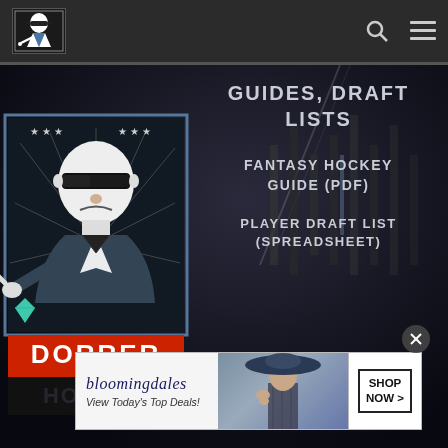Dorrer Hockey — navigation header with logo, search, and menu icons
[Figure (screenshot): Website screenshot of Dorrer Hockey fantasy sports site. Left side shows mascot logo illustration of a man in sunglasses pointing, in a military-style poster frame with stars, with 'DORRER' and 'HOCKEY' text below. Right side shows navigation menu links: GUIDES, DRAFT LISTS; FANTASY HOCKEY GUIDE (PDF); PLAYER DRAFT LIST (SPREADSHEET). Bottom has a Bloomingdale's advertisement banner reading 'View Today's Top Deals! SHOP NOW >']
GUIDES, DRAFT LISTS
FANTASY HOCKEY GUIDE (PDF)
PLAYER DRAFT LIST (SPREADSHEET)
[Figure (illustration): Dorrer Hockey mascot: stylized black-and-white illustration of a man wearing sunglasses pointing at viewer, in a bordered frame with stars and 'DORRER HOCKEY' text]
bloomingdales — View Today's Top Deals! SHOP NOW >